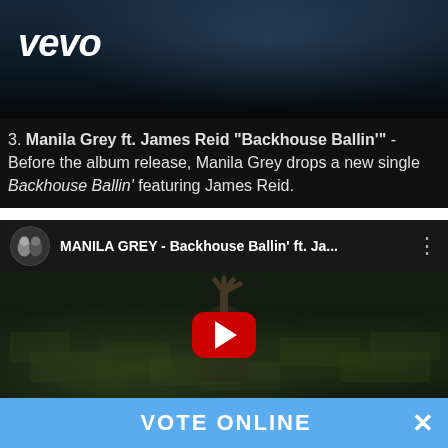[Figure (screenshot): Vevo banner with dark blue/teal background showing a car scene]
3. Manila Grey ft. James Reid "Backhouse Ballin'" - Before the album release, Manila Grey drops a new single Backhouse Ballin' featuring James Reid.
[Figure (screenshot): YouTube embed showing MANILA GREY - Backhouse Ballin' ft. Ja... with play button overlay on a scene of a person surrounded by money]
VOTE ONLINE